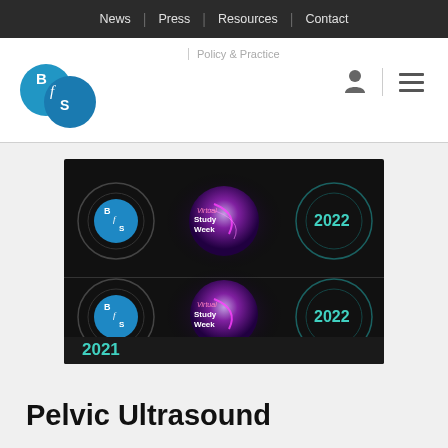News | Press | Resources | Contact
[Figure (logo): BTS (British Thoracic Society) logo - two overlapping blue circles with B, f, S lettering]
Policy & Practice
[Figure (screenshot): BTS Virtual Study Week 2022 promotional banner shown twice stacked, with BTS logo, glowing purple/magenta sphere graphic, text 'Virtual Study Week 2022', and '2021' label at bottom left in cyan]
Pelvic Ultrasound